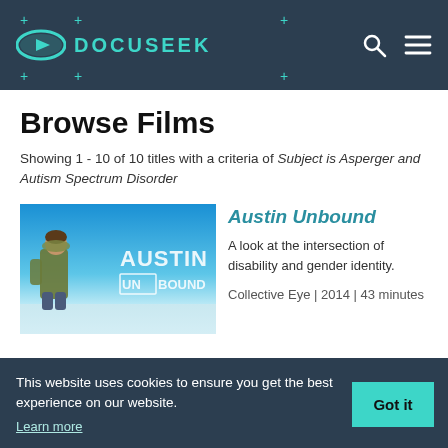DOCUSEEK
Browse Films
Showing 1 - 10 of 10 titles with a criteria of Subject is Asperger and Autism Spectrum Disorder
[Figure (photo): Movie poster/thumbnail for Austin Unbound showing a person in a green hoodie standing on a beach with text 'AUSTIN UNBOUND' overlaid on a blue sky background.]
Austin Unbound
A look at the intersection of disability and gender identity.
Collective Eye | 2014 | 43 minutes
This website uses cookies to ensure you get the best experience on our website. Learn more
Got it